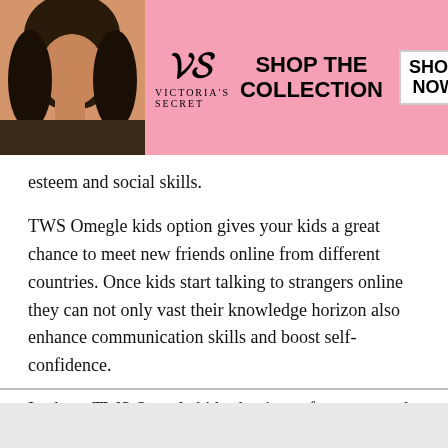[Figure (advertisement): Victoria's Secret banner ad with model photo on pink background, VS logo, 'SHOP THE COLLECTION' text, and 'SHOP NOW' button]
esteem and social skills.
TWS Omegle kids option gives your kids a great chance to meet new friends online from different countries. Once kids start talking to strangers online they can not only vast their knowledge horizon also enhance communication skills and boost self-confidence.
In short, TWS Omegle kids chat is a safe, secure and
[Figure (advertisement): Bottom banner ad: 'Care That You Deserve. Find the Best' with doctor image and arrow button]